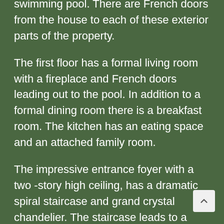swimming pool. There are French doors from the house to each of these exterior parts of the property.
The first floor has a formal living room with a fireplace and French doors leading out to the pool. In addition to a formal dining room there is a breakfast room. The kitchen has an eating space and an attached family room.
The impressive entrance foyer with a two -story high ceiling, has a dramatic spiral staircase and grand crystal chandelier. The staircase leads to a spacious second floor landing that provides a great overhead POV of the front door. This space also has